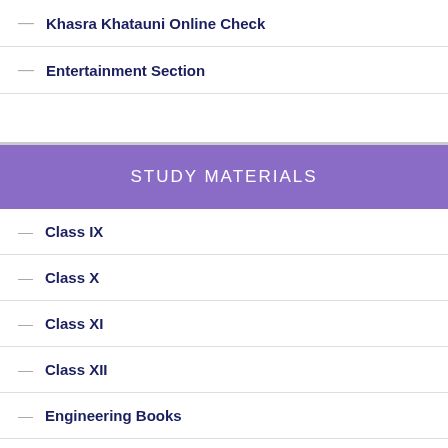Khasra Khatauni Online Check
Entertainment Section
STUDY MATERIALS
Class IX
Class X
Class XI
Class XII
Engineering Books
Computer